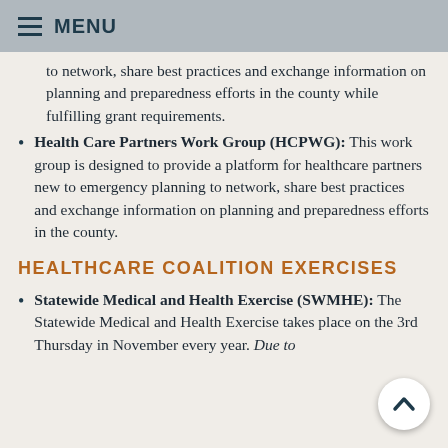MENU
to network, share best practices and exchange information on planning and preparedness efforts in the county while fulfilling grant requirements.
Health Care Partners Work Group (HCPWG): This work group is designed to provide a platform for healthcare partners new to emergency planning to network, share best practices and exchange information on planning and preparedness efforts in the county.
HEALTHCARE COALITION EXERCISES
Statewide Medical and Health Exercise (SWMHE): The Statewide Medical and Health Exercise takes place on the 3rd Thursday in November every year. Due to